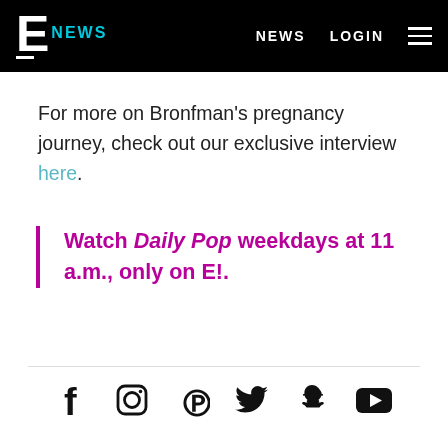E! NEWS   NEWS   LOGIN
For more on Bronfman's pregnancy journey, check out our exclusive interview here.
Watch Daily Pop weekdays at 11 a.m., only on E!.
[Figure (other): Social media icons: Facebook, Instagram, Pinterest, Twitter, Snapchat, YouTube]